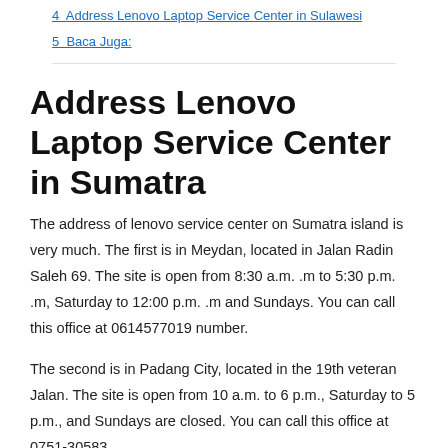4  Address Lenovo Laptop Service Center in Sulawesi
5  Baca Juga:
Address Lenovo Laptop Service Center in Sumatra
The address of lenovo service center on Sumatra island is very much. The first is in Meydan, located in Jalan Radin Saleh 69. The site is open from 8:30 a.m. .m to 5:30 p.m. .m, Saturday to 12:00 p.m. .m and Sundays. You can call this office at 0614577019 number.
The second is in Padang City, located in the 19th veteran Jalan. The site is open from 10 a.m. to 6 p.m., Saturday to 5 p.m., and Sundays are closed. You can call this office at 0751-30583.
The address of lenovo's full service center in Indonesia III, in Pecan Barrow, is located in Jalan KH Ahmed Dahlan 15 Sokajadi, this